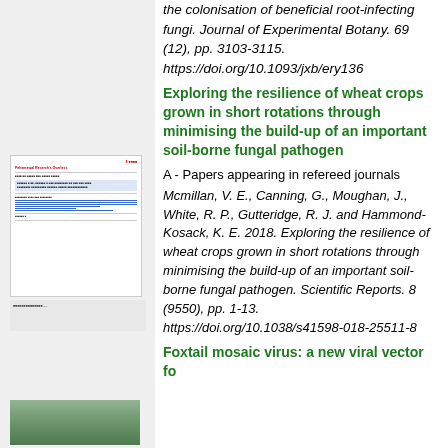the colonisation of beneficial root-infecting fungi. Journal of Experimental Botany. 69 (12), pp. 3103-3115. https://doi.org/10.1093/jxb/ery136
[Figure (screenshot): Thumbnail preview of a research document page with red title text, highlighted text block in blue, and blue underlined lines.]
[Figure (screenshot): Small thumbnail showing a brief text excerpt with citation details.]
Exploring the resilience of wheat crops grown in short rotations through minimising the build-up of an important soil-borne fungal pathogen
A - Papers appearing in refereed journals
Mcmillan, V. E., Canning, G., Moughan, J., White, R. P., Gutteridge, R. J. and Hammond-Kosack, K. E. 2018. Exploring the resilience of wheat crops grown in short rotations through minimising the build-up of an important soil-borne fungal pathogen. Scientific Reports. 8 (9550), pp. 1-13. https://doi.org/10.1038/s41598-018-25511-8
[Figure (photo): Thumbnail image showing a plant or crop related photograph in green tones.]
Foxtail mosaic virus: a new viral vector fo